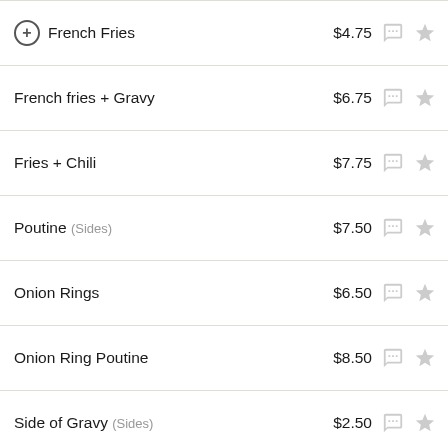French Fries $4.75
French fries + Gravy $6.75
Fries + Chili $7.75
Poutine (Sides) $7.50
Onion Rings $6.50
Onion Ring Poutine $8.50
Side of Gravy (Sides) $2.50
Side of Chili (Sides) $3.00
Copy of French fries $4.75
Disclaimer: PriceListo gathers actual pricing information from sources such as on-site visits, business websites, and phone interviews. The prices reported on this webpage derive from one or more of those sources. Naturally, the prices reported on this website may not be accurate to...